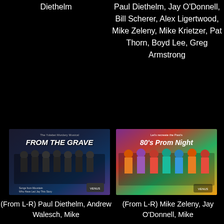Diethelm
Paul Diethelm, Jay O'Donnell, Bill Scherer, Alex Ligertwood, Mike Zeleny, Mike Krietzer, Pat Thorn, Boyd Lee, Greg Armstrong
[Figure (photo): Album or event cover image titled 'From The Grave' showing a group of people]
[Figure (photo): Album or event cover image titled '80's Prom Night' showing a group of people in colorful attire]
(From L-R) Paul Diethelm, Andrew Walesch, Mike
(From L-R) Mike Zeleny, Jay O'Donnell, Mike